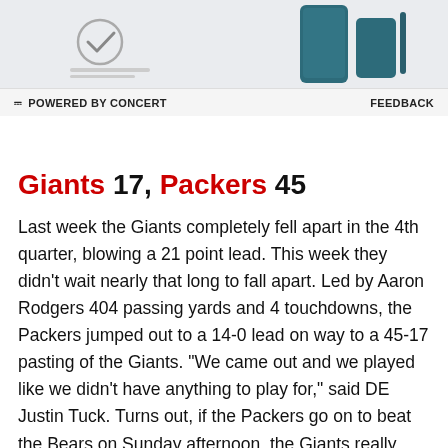[Figure (screenshot): Advertisement banner showing Samsung Galaxy Z Fold device with checkmark icon, partial image at top of page]
POWERED BY CONCERT    FEEDBACK
Giants 17, Packers 45
Last week the Giants completely fell apart in the 4th quarter, blowing a 21 point lead.  This week they didn't wait nearly that long to fall apart. Led by Aaron Rodgers 404 passing yards and 4 touchdowns, the Packers jumped out to a 14-0 lead on way to a 45-17 pasting of the Giants.  "We came out and we played like we didn't have anything to play for," said DE Justin Tuck.  Turns out, if the Packers go on to beat the Bears on Sunday afternoon, the Giants really won't have